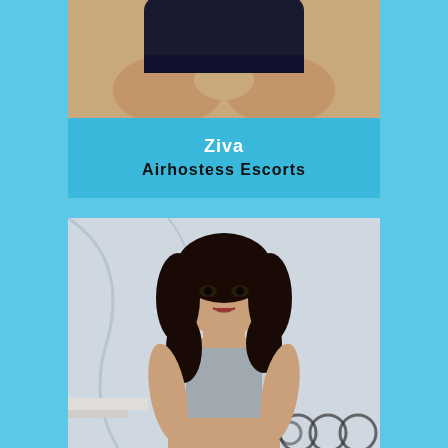[Figure (photo): Close-up photo of a person's midsection wearing dark/black underwear against a light background]
Ziva
Airhostess Escorts
[Figure (photo): Portrait photo of a young woman with long dark wavy hair, wearing a grey crop top, posed against a white fabric background]